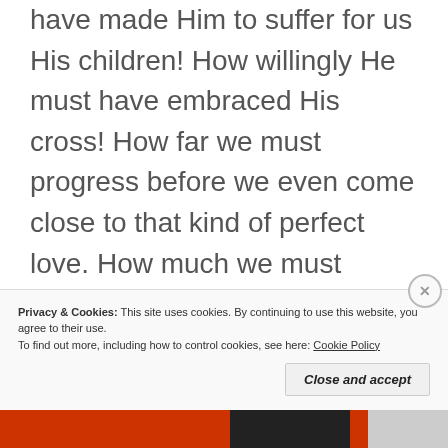have made Him to suffer for us His children! How willingly He must have embraced His cross! How far we must progress before we even come close to that kind of perfect love. How much we must offend Him when we ignore and mock that love. But how terribly His heart must ache to forgive and welcome us back into His grace!
Privacy & Cookies: This site uses cookies. By continuing to use this website, you agree to their use. To find out more, including how to control cookies, see here: Cookie Policy
Close and accept